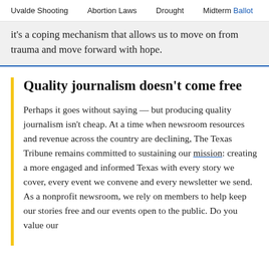Uvalde Shooting   Abortion Laws   Drought   Midterm Ballot
it's a coping mechanism that allows us to move on from trauma and move forward with hope.
Quality journalism doesn't come free
Perhaps it goes without saying — but producing quality journalism isn't cheap. At a time when newsroom resources and revenue across the country are declining, The Texas Tribune remains committed to sustaining our mission: creating a more engaged and informed Texas with every story we cover, every event we convene and every newsletter we send. As a nonprofit newsroom, we rely on members to help keep our stories free and our events open to the public. Do you value our